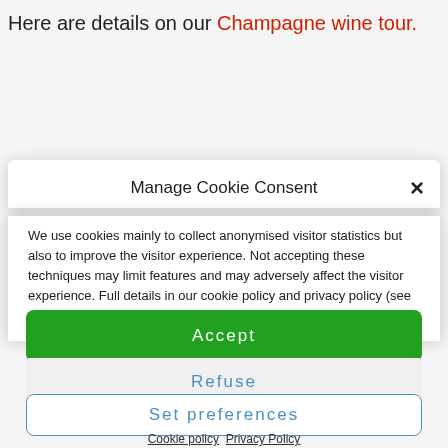Here are details on our Champagne wine tour.
Manage Cookie Consent
We use cookies mainly to collect anonymised visitor statistics but also to improve the visitor experience. Not accepting these techniques may limit features and may adversely affect the visitor experience. Full details in our cookie policy and privacy policy (see below).
Accept
Refuse
Set preferences
Cookie policy  Privacy Policy